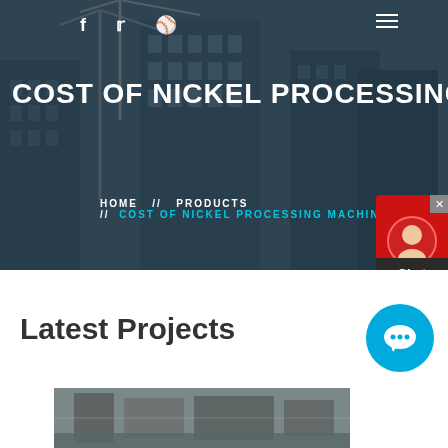[Figure (photo): Hero background: construction site with cranes and tall buildings under construction, dark overlay applied]
COST OF NICKEL PROCESSING M
HOME // PRODUCTS // COST OF NICKEL PROCESSING MACHINES
Latest Projects
[Figure (photo): Industrial machinery or processing equipment inside a facility]